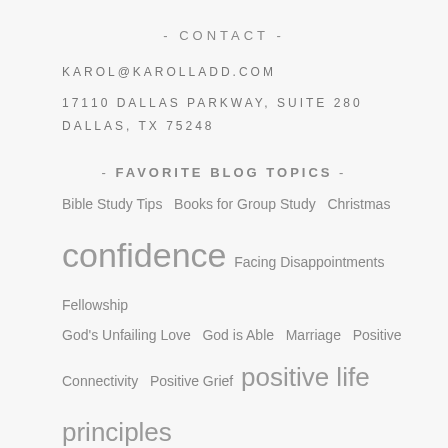- CONTACT -
KAROL@KAROLLADD.COM
17110 DALLAS PARKWAY, SUITE 280
DALLAS, TX 75248
- FAVORITE BLOG TOPICS -
Bible Study Tips
Books for Group Study
Christmas
confidence
Facing Disappointments
Fellowship
God's Unfailing Love
God is Able
Marriage
Positive Connectivity
Positive Grief
positive life principles
Positive Woman Connection
positive women
positive words
Prayer
Relationships
True Joy
Wisdom